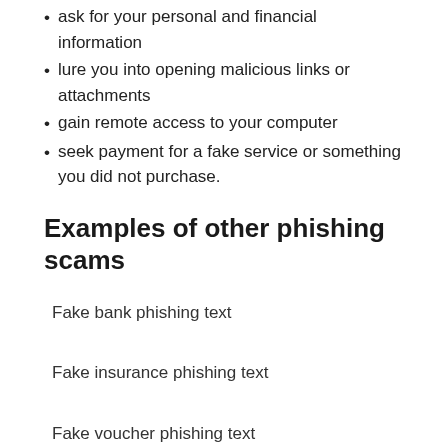ask for your personal and financial information
lure you into opening malicious links or attachments
gain remote access to your computer
seek payment for a fake service or something you did not purchase.
Examples of other phishing scams
Fake bank phishing text
Fake insurance phishing text
Fake voucher phishing text